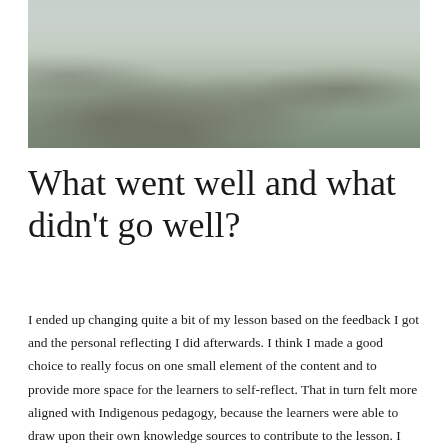[Figure (photo): Winter landscape photograph showing a snow-covered ground with dried grasses and bare branches, with shadows cast across the snow surface. The image is taken in natural daylight with a cold, wintry atmosphere.]
What went well and what didn't go well?
I ended up changing quite a bit of my lesson based on the feedback I got and the personal reflecting I did afterwards. I think I made a good choice to really focus on one small element of the content and to provide more space for the learners to self-reflect. That in turn felt more aligned with Indigenous pedagogy, because the learners were able to draw upon their own knowledge sources to contribute to the lesson. I got feedback that my choice not to...